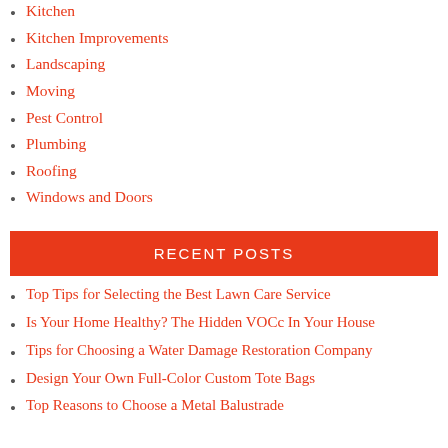Kitchen
Kitchen Improvements
Landscaping
Moving
Pest Control
Plumbing
Roofing
Windows and Doors
RECENT POSTS
Top Tips for Selecting the Best Lawn Care Service
Is Your Home Healthy? The Hidden VOCc In Your House
Tips for Choosing a Water Damage Restoration Company
Design Your Own Full-Color Custom Tote Bags
Top Reasons to Choose a Metal Balustrade